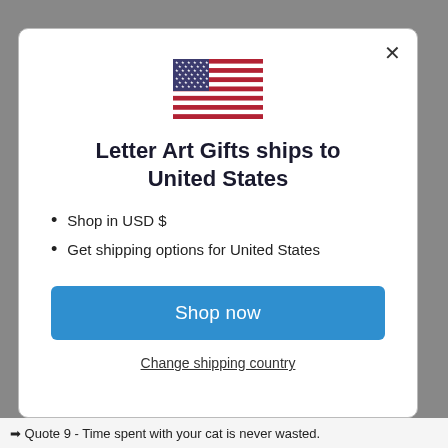[Figure (illustration): US flag SVG illustration centered at top of modal]
Letter Art Gifts ships to United States
Shop in USD $
Get shipping options for United States
Shop now
Change shipping country
➡ Quote 9 - Time spent with your cat is never wasted.